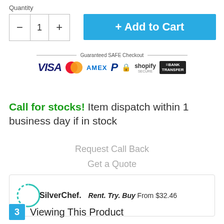Quantity
[Figure (screenshot): Quantity selector with minus button, 1, and plus button, followed by blue Add to Cart button]
[Figure (screenshot): Guaranteed SAFE Checkout banner with VISA, Mastercard, AMEX, PayPal, lock, Shopify Secure, and Bank Transfer icons]
Call for stocks! Item dispatch within 1 business day if in stock
Request Call Back
Get a Quote
[Figure (screenshot): SilverChef logo with teal partial circle, brand name, and tagline Rent. Try. Buy From $32.46]
3 Viewing This Product